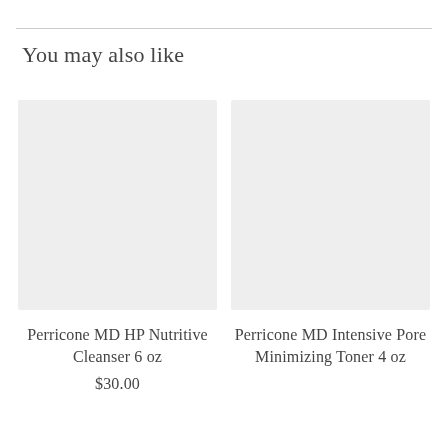You may also like
[Figure (photo): Empty light gray product image placeholder for Perricone MD HP Nutritive Cleanser 6 oz]
Perricone MD HP Nutritive Cleanser 6 oz
$30.00
[Figure (photo): Empty light gray product image placeholder for Perricone MD Intensive Pore Minimizing Toner 4 oz]
Perricone MD Intensive Pore Minimizing Toner 4 oz